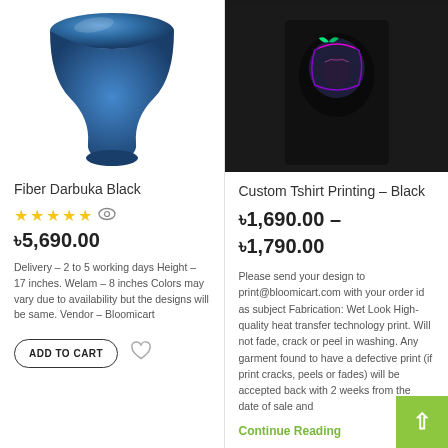[Figure (photo): Blue fiber darbuka drum product photo on white background]
Fiber Darbuka Black
[Figure (other): 5 yellow star rating with eye icon]
৳5,690.00
Delivery – 2 to 5 working days Height – 17 inches. Welam – 8 inches Colors may vary due to availability but the designs will be same. Vendor – Bloomicart
ADD TO CART
[Figure (photo): Black t-shirt with neon graphic print on male model]
Custom Tshirt Printing – Black
৳1,690.00 – ৳1,790.00
Please send your design to print@bloomicart.com with your order id as subject Fabrication: Wet Look High-quality heat transfer technology print. Will not fade, crack or peel in washing. Any garment found to have a defective print (if print cracks, peels or fades) will be accepted back within 2 weeks from the date of sale and
Continue Reading